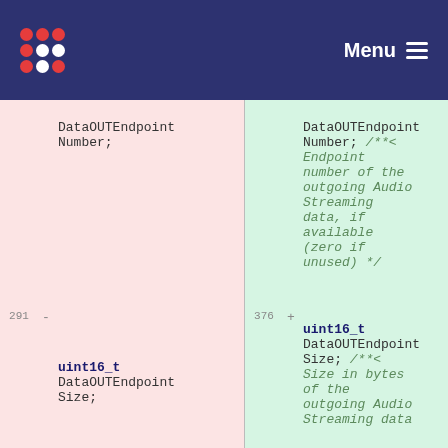Menu
DataOUTEndpointNumber;
DataOUTEndpointNumber; /**< Endpoint number of the outgoing Audio Streaming data, if available (zero if unused) */
291 - 376 +
uint16_t DataOUTEndpointSize;
uint16_t DataOUTEndpointSize; /**< Size in bytes of the outgoing Audio Streaming data